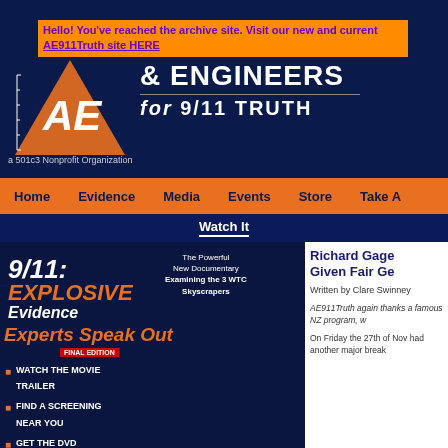Hello! You've reached the archive site. Visit our new and current AE911Truth site HERE
[Figure (logo): Architects & Engineers for 9/11 Truth logo with orange AE graphic and '2,000+' text on dark navy background. Text reads: ARCHITECTS & ENGINEERS for 9/11 TRUTH. a 501c3 Nonprofit Organization.]
Home | Evidence | Media | Events | Store | Take A
Watch It
[Figure (photo): Movie promotional panel for '9/11: EXPLOSIVE Evidence - Experts Speak Out FINAL EDITION' documentary. The Powerful New Documentary Examining the 3 WTC Skyscrapers. Links: WATCH THE MOVIE TRAILER, FIND A SCREENING NEAR YOU, GET THE DVD]
Richard Gage Given Fair Ge
Written by Clare Swinney
AE911Truth again thanks a famous NZ program, w
On Friday the 27th of Nov had another major break